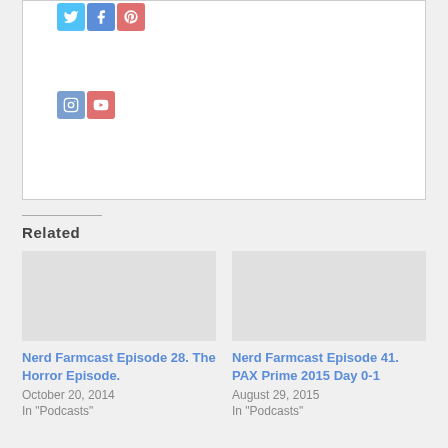[Figure (screenshot): Social media icon buttons row: Twitter (light blue), Facebook (blue), Pinterest (pink/red)]
[Figure (screenshot): Social media icon buttons row: Instagram (blue-grey), YouTube (red/orange)]
Related
Nerd Farmcast Episode 28. The Horror Episode.
October 20, 2014
In "Podcasts"
Nerd Farmcast Episode 41. PAX Prime 2015 Day 0-1
August 29, 2015
In "Podcasts"